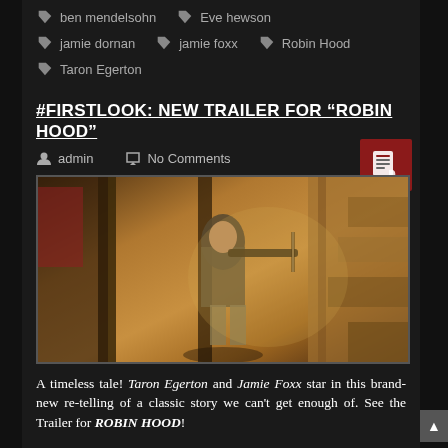ben mendelsohn
Eve hewson
jamie dornan
jamie foxx
Robin Hood
Taron Egerton
#FIRSTLOOK: NEW TRAILER FOR “ROBIN HOOD”
admin   No Comments
[Figure (photo): Movie still from Robin Hood showing an archer in combat stance in a stone building, holding a bow, dressed in medieval tactical gear.]
A timeless tale! Taron Egerton and Jamie Foxx star in this brand-new re-telling of a classic story we can’t get enough of. See the Trailer for ROBIN HOOD!